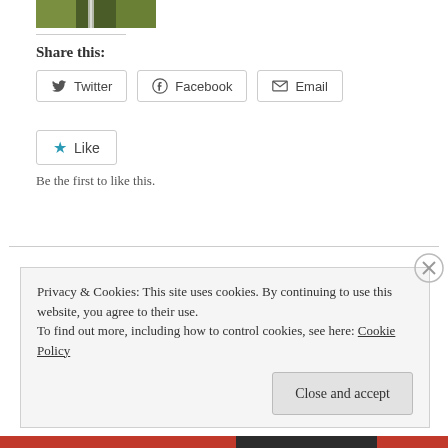[Figure (photo): Partial garden photo strip at top of page]
Share this:
Twitter  Facebook  Email (share buttons)
Like  Be the first to like this.
RECENT POSTS
Privacy & Cookies: This site uses cookies. By continuing to use this website, you agree to their use.
To find out more, including how to control cookies, see here: Cookie Policy
Close and accept